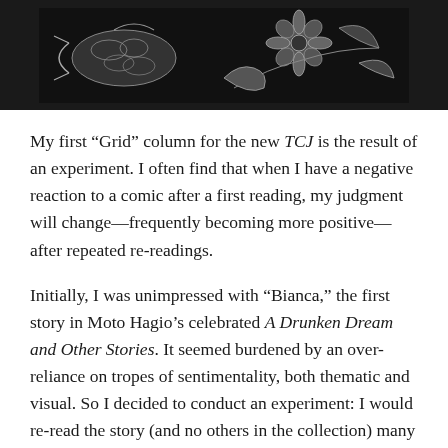[Figure (illustration): Black and white illustration showing floral and fish motifs on a dark background, partially visible at top of page]
My first “Grid” column for the new TCJ is the result of an experiment. I often find that when I have a negative reaction to a comic after a first reading, my judgment will change—frequently becoming more positive—after repeated re-readings.
Initially, I was unimpressed with “Bianca,” the first story in Moto Hagio’s celebrated A Drunken Dream and Other Stories. It seemed burdened by an over-reliance on tropes of sentimentality, both thematic and visual. So I decided to conduct an experiment: I would re-read the story (and no others in the collection) many times over the course of two weeks, to see if my reactions changed as my understanding developed. Then I would write up an analytical reading that